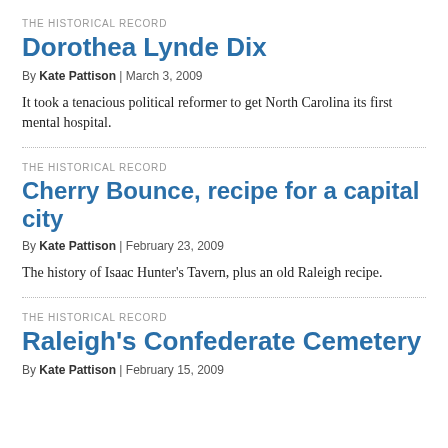THE HISTORICAL RECORD
Dorothea Lynde Dix
By Kate Pattison | March 3, 2009
It took a tenacious political reformer to get North Carolina its first mental hospital.
THE HISTORICAL RECORD
Cherry Bounce, recipe for a capital city
By Kate Pattison | February 23, 2009
The history of Isaac Hunter’s Tavern, plus an old Raleigh recipe.
THE HISTORICAL RECORD
Raleigh’s Confederate Cemetery
By Kate Pattison | February 15, 2009